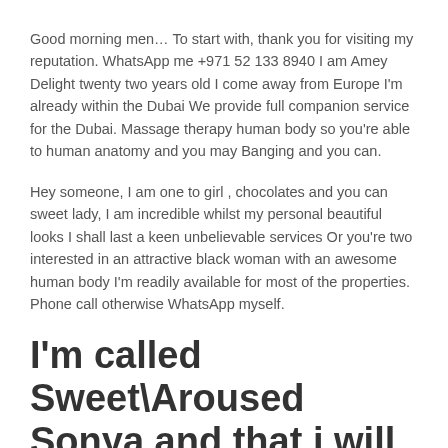Good morning men… To start with, thank you for visiting my reputation. WhatsApp me +971 52 133 8940 I am Amey Delight twenty two years old I come away from Europe I'm already within the Dubai We provide full companion service for the Dubai. Massage therapy human body so you're able to human anatomy and you may Banging and you can.
Hey someone, I am one to girl , chocolates and you can sweet lady, I am incredible whilst my personal beautiful looks I shall last a keen unbelievable services Or you're two interested in an attractive black woman with an awesome human body I'm readily available for most of the properties. Phone call otherwise WhatsApp myself.
I'm called Sweet\Aroused Sonya and that i will bring you so you can a memorable climax